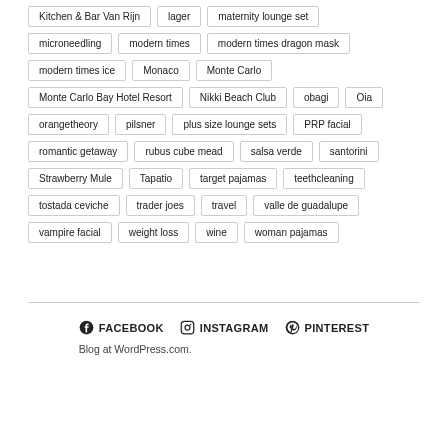Kitchen & Bar Van Rijn
lager
maternity lounge set
microneedling
modern times
modern times dragon mask
modern times ice
Monaco
Monte Carlo
Monte Carlo Bay Hotel Resort
Nikki Beach Club
obagi
Oia
orangetheory
pilsner
plus size lounge sets
PRP facial
romantic getaway
rubus cube mead
salsa verde
santorini
Strawberry Mule
Tapatio
target pajamas
teethcleaning
tostada ceviche
trader joes
travel
valle de guadalupe
vampire facial
weight loss
wine
woman pajamas
FACEBOOK   INSTAGRAM   PINTEREST
Blog at WordPress.com.